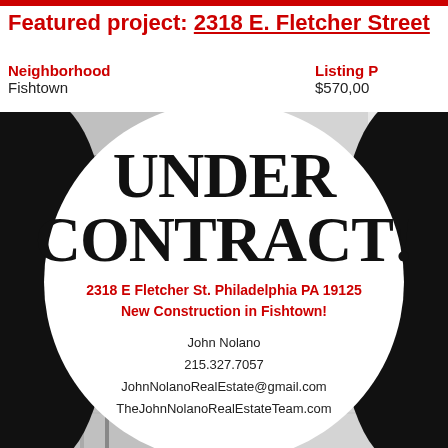Featured project: 2318 E. Fletcher Street
Neighborhood
Fishtown
Listing P...
$570,00...
[Figure (photo): Under Contract promotional overlay on interior home photos showing staircase and open room]
UNDER CONTRACT!
2318 E Fletcher St. Philadelphia PA 19125
New Construction in Fishtown!
John Nolano
215.327.7057
JohnNolanoRealEstate@gmail.com
TheJohnNolanoRealEstateTeam.com